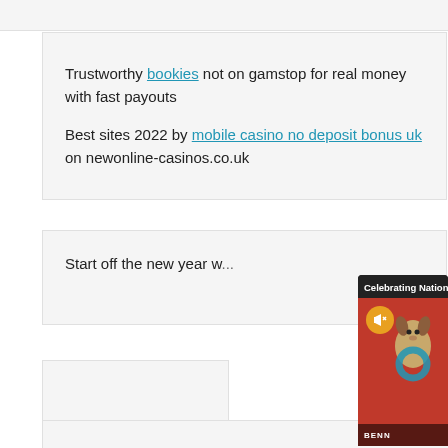Trustworthy bookies not on gamstop for real money with fast payouts

Best sites 2022 by mobile casino no deposit bonus uk on newonline-casinos.co.uk
Start off the new year w...
[Figure (screenshot): Video popup overlay titled 'Celebrating National Dog Day With ...' with close button, showing a small dog (Yorkshire Terrier) with a circular toy on a red background, with a mute button and 'BENN' label at bottom]